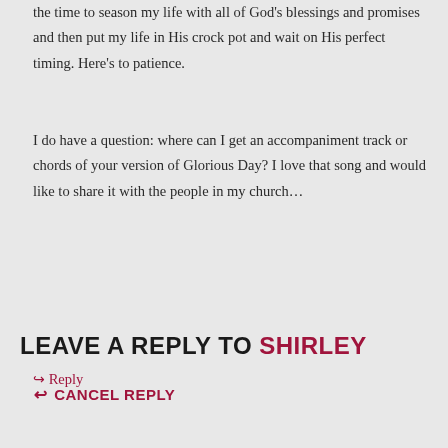the time to season my life with all of God's blessings and promises and then put my life in His crock pot and wait on His perfect timing. Here's to patience.
I do have a question: where can I get an accompaniment track or chords of your version of Glorious Day? I love that song and would like to share it with the people in my church…
↳ Reply
LEAVE A REPLY TO SHIRLEY
↩ CANCEL REPLY